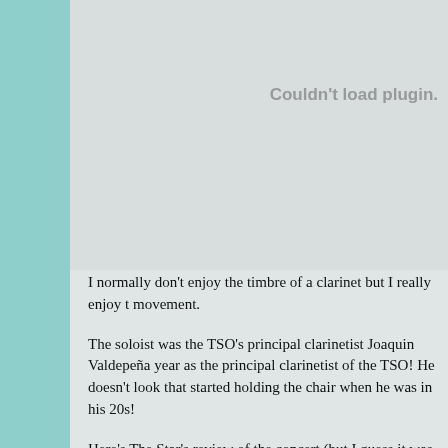[Figure (other): Plugin placeholder box with 'Couldn't load plugin.' message in gray text on light gray background]
I normally don't enjoy the timbre of a clarinet but I really enjoy t... movement.
The soloist was the TSO's principal clarinetist Joaquin Valdepeña... year as the principal clarinetist of the TSO! He doesn't look that... started holding the chair when he was in his 20s!
Here's The Star's review of the concert (but I guess it was the Th...